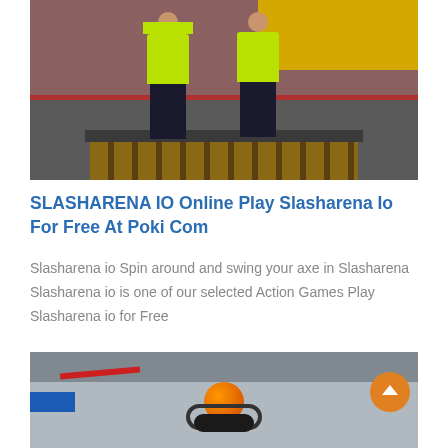[Figure (photo): Two workers in yellow/green high-visibility safety vests standing on a metal platform with wooden slats in an industrial setting with red-painted steel structures]
SLASHARENA IO Online Play Slasharena Io For Free At Poki Com
Slasharena io Spin around and swing your axe in Slasharena Slasharena io is one of our selected Action Games Play Slasharena io for Free
[Figure (photo): Interior of a large industrial or transit station with a ceiling structure; an orange sphere/spinner game machine in the foreground with a blue sign and red piping visible]